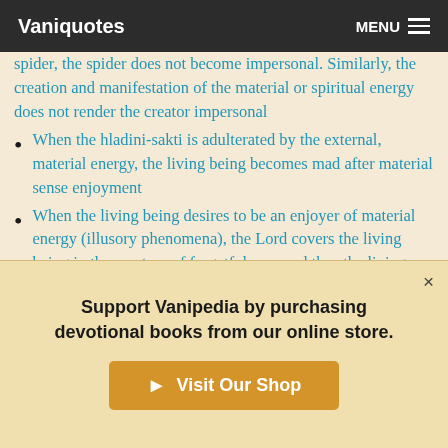Vaniquotes | MENU
spider, the spider does not become impersonal. Similarly, the creation and manifestation of the material or spiritual energy does not render the creator impersonal
When the hladini-sakti is adulterated by the external, material energy, the living being becomes mad after material sense enjoyment
When the living being desires to be an enjoyer of material energy (illusory phenomena), the Lord covers the living being in the mystery of forgetfulness, and thus the living being misinterprets the gross body and subtle mind to be his own self
Support Vanipedia by purchasing devotional books from our online store.
Visit Our Shop